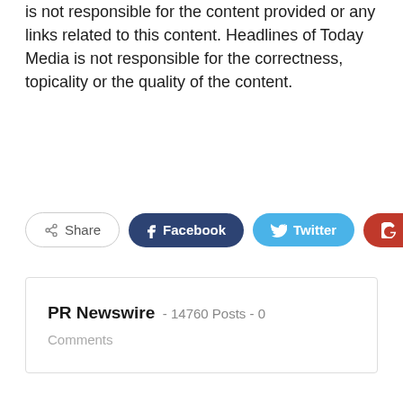is not responsible for the content provided or any links related to this content. Headlines of Today Media is not responsible for the correctness, topicality or the quality of the content.
[Figure (other): Social share buttons: Share, Facebook, Twitter, Google+]
PR Newswire - 14760 Posts - 0 Comments